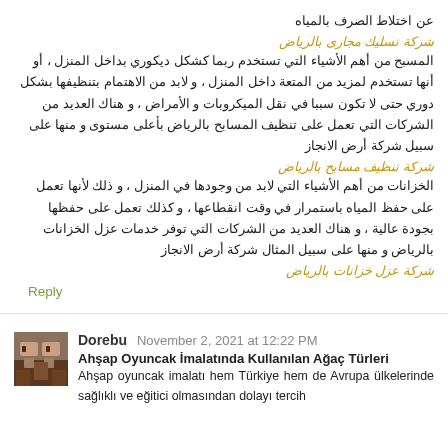عن اختلاط الصرف بالمياه
شركة تسليك مجارى بالرياض
المسبح من أهم الأشياء التي تستخدم ربما كشكل ديكوري بداخل المنزل ، أو أنها تستخدم لمزيد من المتعة داخل المنزل ، و لابد من الاهتمام بتنظيفها بشكل دوري حتى لا تكون سببا في نقل الميكروبات و الأمراض ، و هناك العديد من الشركات التي تعمل على تنظيف المسابح بالرياض بأعلى مستوى و منها على سبيل شركة أرض الانجاز
شركة تنظيف مسابح بالرياض
الخزانات من أهم الأشياء التي لابد من وجودها في المنزل ، و ذلك لأنها تعمل على حفظ المياه باستمرار في وقت انقطاعها ، و كذلك تعمل على حفظها بجودة عالية ، و هناك العديد من الشركات التي توفر خدمات عزل الخزانات بالرياض و منها على سبيل المثال شركة أرض الانجاز
شركة عزل خزانات بالرياض
Reply
Dorebu  November 2, 2021 at 12:22 PM
Ahşap Oyuncak İmalatında Kullanılan Ağaç Türleri
Ahşap oyuncak imalatı hem Türkiye hem de Avrupa ülkelerinde sağlıklı ve eğitici olmasından dolayı tercih